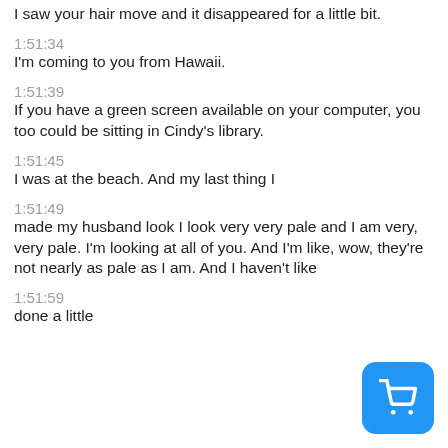I saw your hair move and it disappeared for a little bit.
1:51:34
I'm coming to you from Hawaii.
1:51:39
If you have a green screen available on your computer, you too could be sitting in Cindy's library.
1:51:45
I was at the beach. And my last thing I
1:51:49
made my husband look I look very very pale and I am very, very pale. I'm looking at all of you. And I'm like, wow, they're not nearly as pale as I am. And I haven't like
1:51:59
done a little
[Figure (other): Blue rounded square button with white shopping cart icon]